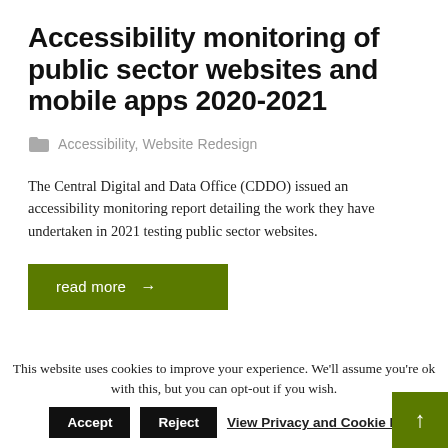Accessibility monitoring of public sector websites and mobile apps 2020-2021
Accessibility, Website Redesign
The Central Digital and Data Office (CDDO) issued an accessibility monitoring report detailing the work they have undertaken in 2021 testing public sector websites.
read more →
This website uses cookies to improve your experience. We'll assume you're ok with this, but you can opt-out if you wish.
Accept   Reject   View Privacy and Cookie P…